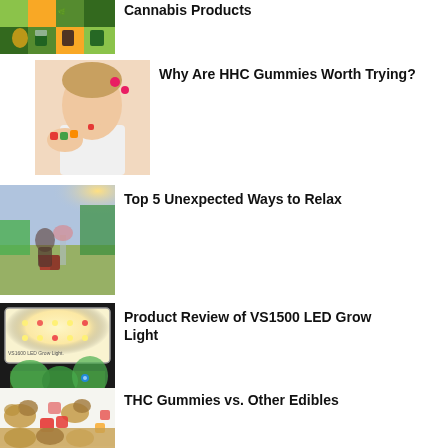[Figure (photo): Colorful cannabis product packaging on green/yellow grid background]
Cannabis Products
[Figure (photo): Woman eating colorful gummies]
Why Are HHC Gummies Worth Trying?
[Figure (photo): Person relaxing outdoors with plants]
Top 5 Unexpected Ways to Relax
[Figure (photo): VS1500 LED Grow Light product image]
Product Review of VS1500 LED Grow Light
[Figure (photo): THC gummies and cannabis buds on white surface]
THC Gummies vs. Other Edibles
[Figure (photo): Partially visible image at bottom of page]